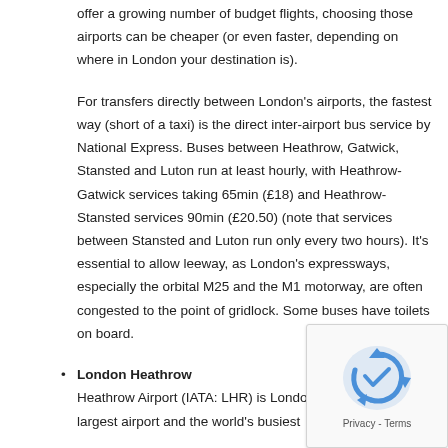offer a growing number of budget flights, choosing those airports can be cheaper (or even faster, depending on where in London your destination is).
For transfers directly between London's airports, the fastest way (short of a taxi) is the direct inter-airport bus service by National Express. Buses between Heathrow, Gatwick, Stansted and Luton run at least hourly, with Heathrow-Gatwick services taking 65min (£18) and Heathrow-Stansted services 90min (£20.50) (note that services between Stansted and Luton run only every two hours). It's essential to allow leeway, as London's expressways, especially the orbital M25 and the M1 motorway, are often congested to the point of gridlock. Some buses have toilets on board.
London Heathrow
Heathrow Airport (IATA: LHR) is London and Europe's largest airport and the world's busiest